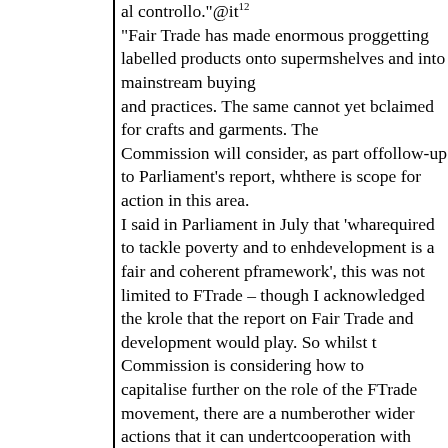al controllo."@it12 "Fair Trade has made enormous progress in getting labelled products onto supermarket shelves and into mainstream buying and practices. The same cannot yet be claimed for crafts and garments. The Commission will consider, as part of the follow-up to Parliament's report, whether there is scope for action in this area. I said in Parliament in July that 'what is required to tackle poverty and to enhance development is a fair and coherent policy framework', this was not limited to Fair Trade – though I acknowledged the key role that the report on Fair Trade and development would play. So whilst the Commission is considering how to capitalise further on the role of the Fair Trade movement, there are a number of other wider actions that it can undertake in cooperation with developing countries that can promote decent work and international labour standards, as well as the interlinkage between decent work and other policies. The new thematic programme on...